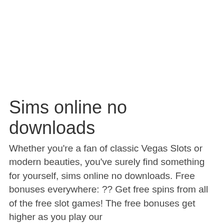Sims online no downloads
Whether you're a fan of classic Vegas Slots or modern beauties, you've surely find something for yourself, sims online no downloads. Free bonuses everywhere: ?? Get free spins from all of the free slot games! The free bonuses get higher as you play our